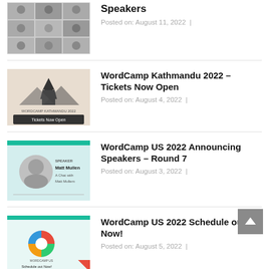[Figure (photo): Grid of speaker profile photos]
Speakers
Posted on: August 11, 2022  |
[Figure (illustration): WordCamp Kathmandu 2022 banner with temple silhouette and 'Tickets Now Open' text]
WordCamp Kathmandu 2022 – Tickets Now Open
Posted on: August 4, 2022  |
[Figure (photo): WordCamp US 2022 speaker card for Matt Mullenweg - A Chat with Matt Mullenweg]
WordCamp US 2022 Announcing Speakers – Round 7
Posted on: August 3, 2022  |
[Figure (illustration): WordCamp US 2022 Schedule out Now! banner with colorful circular logo]
WordCamp US 2022 Schedule out Now!
Posted on: August 5, 2022  |
[Figure (illustration): First Batch of WordCamp Asia banner - red background]
First Batch of WordCamp Asia